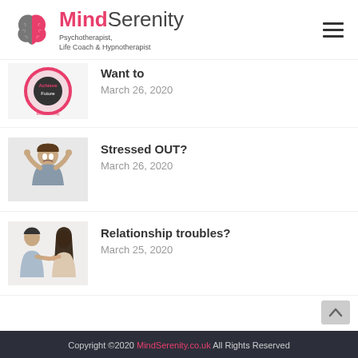[Figure (logo): MindSerenity logo with pink brain icon, pink and grey text reading MindSerenity, and tagline Psychotherapist, Life Coach & Hypnotherapist]
[Figure (photo): Partially cropped circular image with MindSerenity branding]
Want to
March 26, 2020
[Figure (photo): Woman with hands in hair looking stressed]
Stressed OUT?
March 26, 2020
[Figure (photo): Man and woman facing each other in apparent argument representing relationship troubles]
Relationship troubles?
March 25, 2020
Copyright ©2020 MindSerenity.co.uk All Rights Reserved